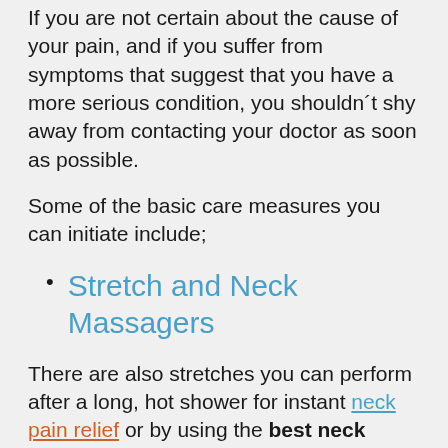If you are not certain about the cause of your pain, and if you suffer from symptoms that suggest that you have a more serious condition, you shouldn´t shy away from contacting your doctor as soon as possible.
Some of the basic care measures you can initiate include;
Stretch and Neck Massagers
There are also stretches you can perform after a long, hot shower for instant neck pain relief or by using the best neck massagers and shoulder massagers. For instance, you can perform the seated neck